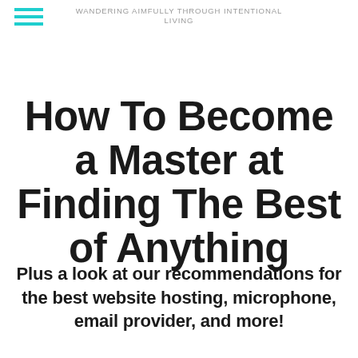WANDERING AIMFULLY THROUGH INTENTIONAL LIVING
How To Become a Master at Finding The Best of Anything
Plus a look at our recommendations for the best website hosting, microphone, email provider, and more!